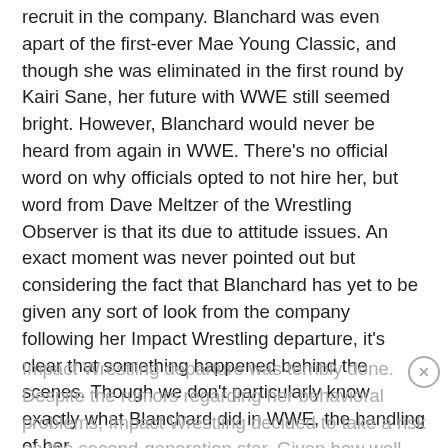recruit in the company. Blanchard was even apart of the first-ever Mae Young Classic, and though she was eliminated in the first round by Kairi Sane, her future with WWE still seemed bright. However, Blanchard would never be heard from again in WWE. There's no official word on why officials opted to not hire her, but word from Dave Meltzer of the Wrestling Observer is that its due to attitude issues. An exact moment was never pointed out but considering the fact that Blanchard has yet to be given any sort of look from the company following her Impact Wrestling departure, it's clear that something happened behind the scenes. Though we don't particularly know exactly what Blanchard did in WWE, the handling of her
Impact Wrestling departure was terribly done. Despite the rumors regarding her behavioral problems, Impact Wrestling decided to take a risk on the second-generation star. Given how well Blanchard was pushed within the